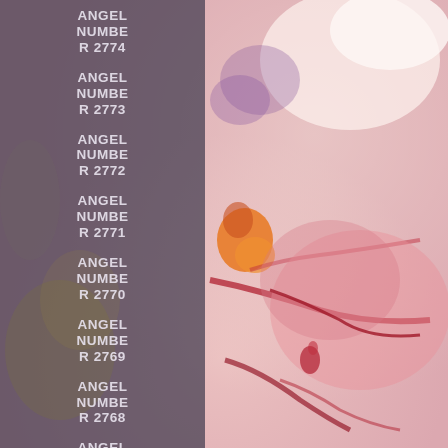[Figure (illustration): Abstract watercolor painting with pink, red, orange, and purple fluid shapes on the right half, overlaid with a dark semi-transparent panel on the left]
ANGEL NUMBER 2774
ANGEL NUMBER 2773
ANGEL NUMBER 2772
ANGEL NUMBER 2771
ANGEL NUMBER 2770
ANGEL NUMBER 2769
ANGEL NUMBER 2768
ANGEL NUMBER 2767